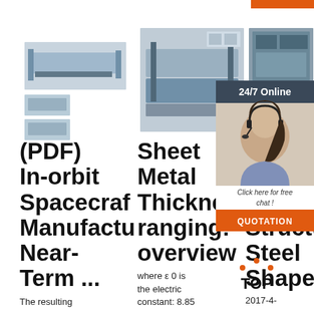[Figure (photo): Industrial roll forming or metal sheet processing machinery – left cluster with main machine and two small thumbnail images below]
[Figure (photo): Industrial metal forming / roll forming machine – center image]
[Figure (photo): Industrial machinery close-up – right image, partially covered by chat overlay]
[Figure (infographic): 24/7 Online chat widget overlay with woman wearing headset, 'Click here for free chat!' text and QUOTATION orange button]
(PDF) In-orbit Spacecraft Manufacturing: Near-Term ...
The resulting
Sheet Metal Thickness ranging: overview
where ε 0 is the electric constant: 8.85
Th Va Ty Structural Steel Shapes
2017-4-